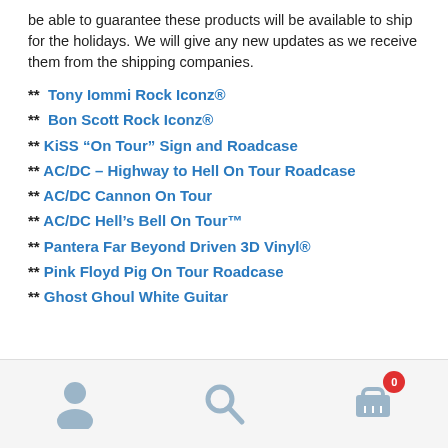be able to guarantee these products will be available to ship for the holidays. We will give any new updates as we receive them from the shipping companies.
** Tony Iommi Rock Iconz®
** Bon Scott Rock Iconz®
** KiSS “On Tour” Sign and Roadcase
** AC/DC – Highway to Hell On Tour Roadcase
** AC/DC Cannon On Tour
** AC/DC Hell’s Bell On Tour™
** Pantera Far Beyond Driven 3D Vinyl®
** Pink Floyd Pig On Tour Roadcase
** Ghost Ghoul White Guitar
Navigation bar with user, search, and cart icons